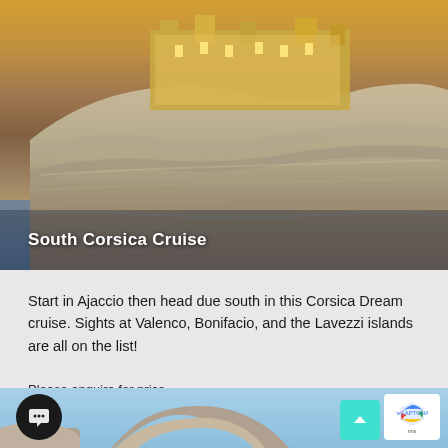[Figure (photo): Clifftop fortress/citadel at dusk with golden lit buildings, dramatic rocky cliffs above the sea — South Corsica Cruise]
South Corsica Cruise
Start in Ajaccio then head due south in this Corsica Dream cruise. Sights at Valenco, Bonifacio, and the Lavezzi islands are all on the list!
Please enquire for price
Various dates available
[Figure (photo): Natural rock arch formation in turquoise blue sea water — cruise destination scenery]